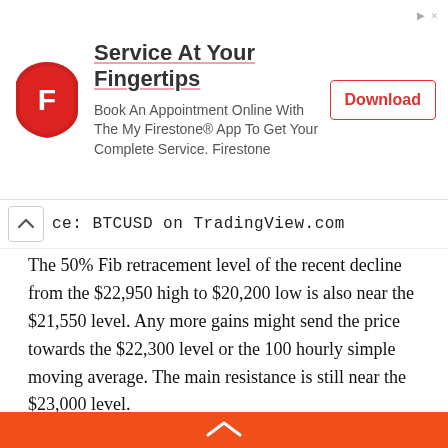[Figure (other): Advertisement banner for Firestone app. Shows Firestone logo (red shield with F), headline 'Service At Your Fingertips', body text 'Book An Appointment Online With The My Firestone® App To Get Your Complete Service. Firestone', and a Download button with red border.]
ce: BTCUSD on TradingView.com
The 50% Fib retracement level of the recent decline from the $22,950 high to $20,200 low is also near the $21,550 level. Any more gains might send the price towards the $22,300 level or the 100 hourly simple moving average. The main resistance is still near the $23,000 level.
Fresh Decline in BTC?
If bitcoin fails to clear the $22,000 resistance zone and